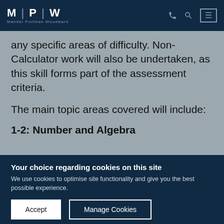MPW Mander Portman Woodward
any specific areas of difficulty. Non-Calculator work will also be undertaken, as this skill forms part of the assessment criteria.
The main topic areas covered will include:
1-2: Number and Algebra
Your choice regarding cookies on this site
We use cookies to optimise site functionality and give you the best possible experience.